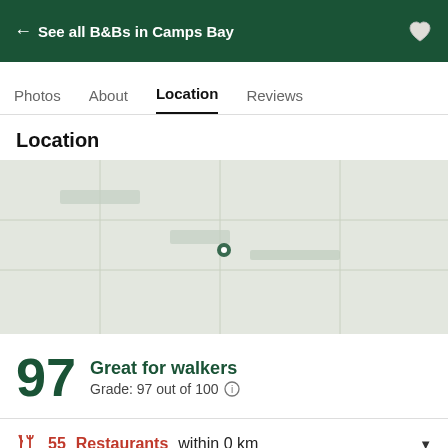← See all B&Bs in Camps Bay
Photos  About  Location  Reviews
Location
[Figure (map): Map placeholder showing location in Camps Bay area]
97  Great for walkers  Grade: 97 out of 100
55 Restaurants within 0 km
14 Attractions within 0 km